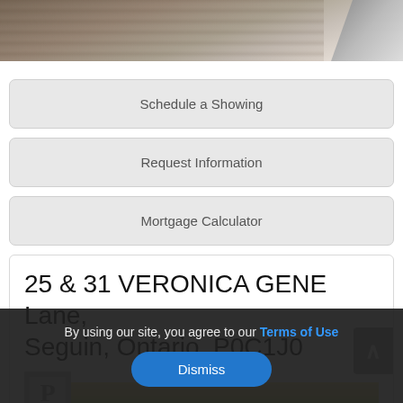[Figure (photo): Partial outdoor/landscape photo banner at top of page]
Schedule a Showing
Request Information
Mortgage Calculator
25 & 31 VERONICA GENE Lane, Seguin, Ontario, P0C1J0
[Figure (photo): Property logo and landscape thumbnail image]
By using our site, you agree to our Terms of Use
Dismiss